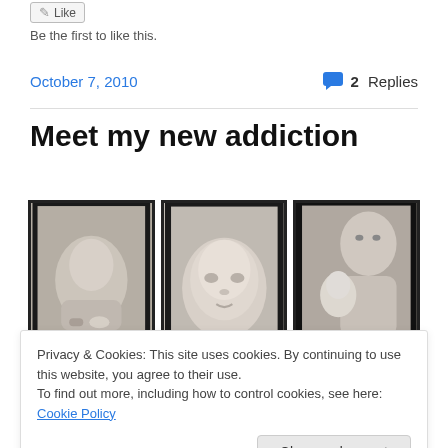Like
Be the first to like this.
October 7, 2010
2 Replies
Meet my new addiction
[Figure (photo): Three black-and-white photos of a newborn baby and a woman holding the baby, displayed side by side in a row]
Privacy & Cookies: This site uses cookies. By continuing to use this website, you agree to their use.
To find out more, including how to control cookies, see here: Cookie Policy
you about, dear readers- I am not going to distract you